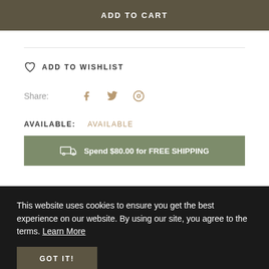ADD TO CART
ADD TO WISHLIST
Share:
AVAILABLE: AVAILABLE
Spend $80.00 for FREE SHIPPING
This website uses cookies to ensure you get the best experience on our website. By using our site, you agree to the terms. Learn More
GOT IT!